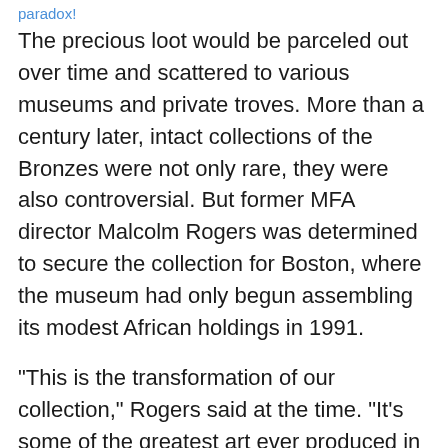paradox!
The precious loot would be parceled out over time and scattered to various museums and private troves. More than a century later, intact collections of the Bronzes were not only rare, they were also controversial. But former MFA director Malcolm Rogers was determined to secure the collection for Boston, where the museum had only begun assembling its modest African holdings in 1991.
“This is the transformation of our collection,” Rogers said at the time. “It’s some of the greatest art ever produced in Africa.”
Today, the MFA finds itself at a crossroads as Bronzes around the world have become a central focus in the ongoing struggle over artifacts looted during that colonial era. The debate has intensified in recent months with a